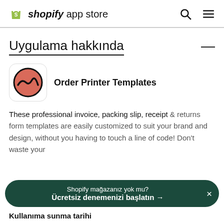shopify app store
Uygulama hakkında
[Figure (logo): Order Printer Templates app icon — circular red/salmon logo with mountain/wave line art in black]
Order Printer Templates
These professional invoice, packing slip, receipt & returns form templates are easily customized to suit your brand and design, without you having to touch a line of code! Don't waste your
Shopify mağazanız yok mu? Ücretsiz denemenizi başlatın →
Kullanıma sunma tarihi